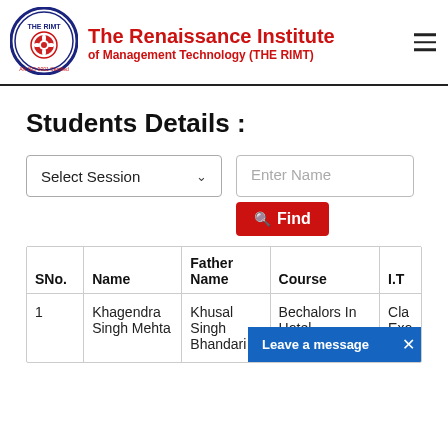The Renaissance Institute of Management Technology (THE RIMT)
Students Details :
Select Session
Enter Name
Find
| SNo. | Name | Father Name | Course | I.T |
| --- | --- | --- | --- | --- |
| 1 | Khagendra Singh Mehta | Khusal Singh Bhandari | Bechalors In Hotel Management | Cla Exo Ban |
Leave a message